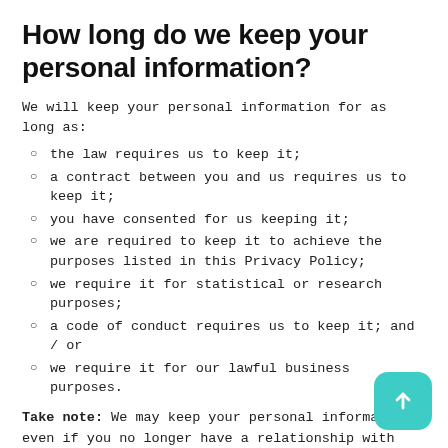How long do we keep your personal information?
We will keep your personal information for as long as:
the law requires us to keep it;
a contract between you and us requires us to keep it;
you have consented for us keeping it;
we are required to keep it to achieve the purposes listed in this Privacy Policy;
we require it for statistical or research purposes;
a code of conduct requires us to keep it; and / or
we require it for our lawful business purposes.
Take note: We may keep your personal information even if you no longer have a relationship with us, for the historical data that may be required by your employer or employee.
Our cookie policy
A cookie is a small piece of data sent from our website applications to your computer or device hard drive or